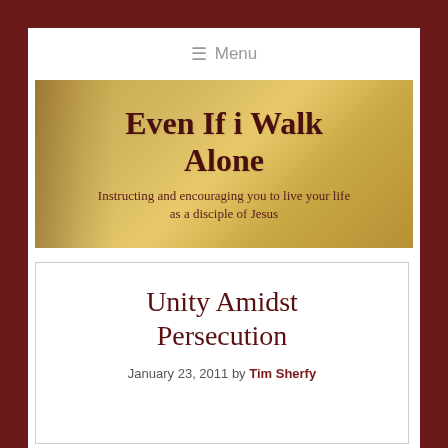≡ Menu
[Figure (illustration): Banner image with golden/tan background and dark shadow on left side showing 'Even If i Walk Alone' as the site title and subtitle 'Instructing and encouraging you to live your life as a disciple of Jesus']
Unity Amidst Persecution
January 23, 2011 by Tim Sherfy